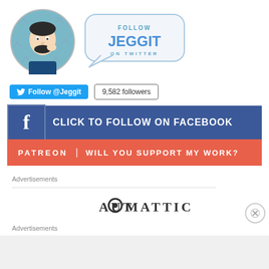[Figure (illustration): Circular avatar illustration of a man with beard thinking, on a blue/teal patterned background with snowflake-like designs]
[Figure (infographic): Speech bubble saying FOLLOW JEGGIT ON TWITTER in blue text]
Follow @Jeggit   9,582 followers
[Figure (infographic): Facebook blue banner: CLICK TO FOLLOW ON FACEBOOK with Facebook f icon]
[Figure (infographic): Patreon orange banner: PATREON | WILL YOU SUPPORT MY WORK?]
Advertisements
[Figure (logo): AUTOMATTIC logo with circular O with dot]
Advertisements